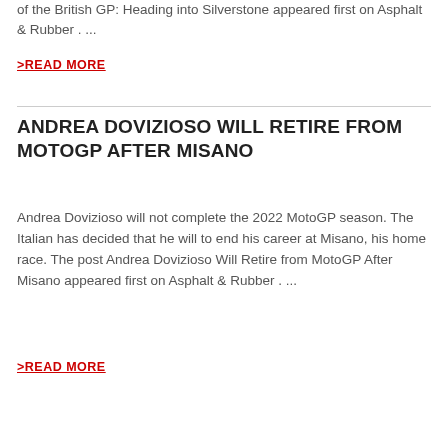of the British GP: Heading into Silverstone appeared first on Asphalt & Rubber . ...
>READ MORE
ANDREA DOVIZIOSO WILL RETIRE FROM MOTOGP AFTER MISANO
Andrea Dovizioso will not complete the 2022 MotoGP season. The Italian has decided that he will to end his career at Misano, his home race. The post Andrea Dovizioso Will Retire from MotoGP After Misano appeared first on Asphalt & Rubber . ...
>READ MORE